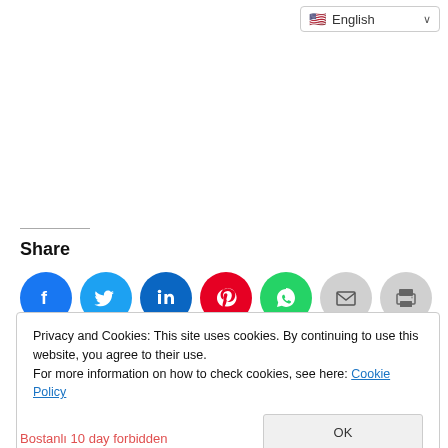🇺🇸 English ∨
Share
[Figure (infographic): Row of social media sharing icons: Facebook (blue), Twitter (light blue), LinkedIn (dark blue), Pinterest (red), WhatsApp (green), Email (gray), Print (gray)]
Privacy and Cookies: This site uses cookies. By continuing to use this website, you agree to their use.
For more information on how to check cookies, see here: Cookie Policy
OK
Bostanlı 10 day forbidden